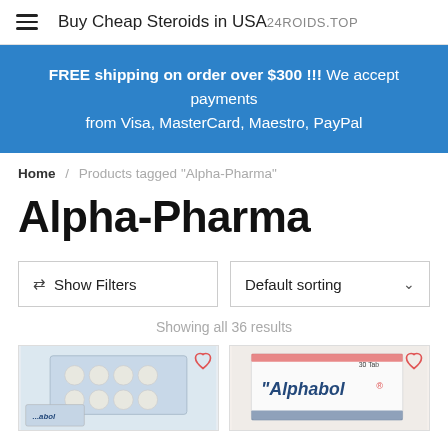Buy Cheap Steroids in USA 24ROIDS.TOP
FREE shipping on order over $300 !!!  We accept payments from Visa, MasterCard, Maestro, PayPal
Home / Products tagged “Alpha-Pharma”
Alpha-Pharma
Show Filters
Default sorting
Showing all 36 results
[Figure (photo): Two product thumbnail images: left shows blister packs of pills, right shows Alphabol tablet box with red branding]
Alphabol